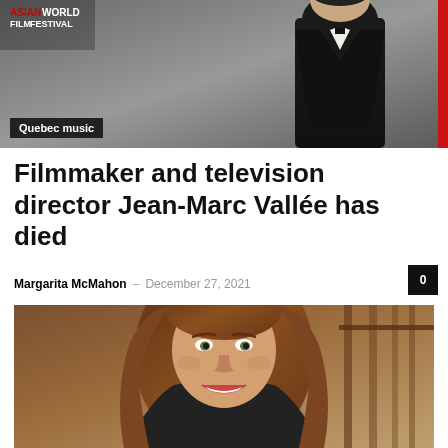[Figure (photo): Top banner image showing a person in a dark suit jacket against a grey background, with Asian World Film Festival logo in top left and a red bar on the right edge]
Quebec music
Filmmaker and television director Jean-Marc Vallée has died
Margarita McMahon – December 27, 2021
[Figure (photo): Portrait photo of a smiling woman with long brown hair, green eyes, wearing a dark top, photographed indoors with wooden staircase in background]